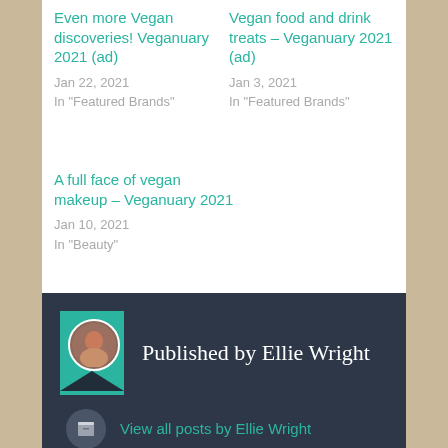Even more Vegan discoveries! Veganuary 2021 (ad)
Jan 22, 2021
In "Featured Brands"
Vegan food and drink treats – Veganuary 2021 (ad)
Jan 3, 2021
In "Featured Brands"
A full face of vegan makeup – Veganuary 2021
Jan 10, 2021
In "Beauty"
Published by Ellie Wright
View all posts by Ellie Wright